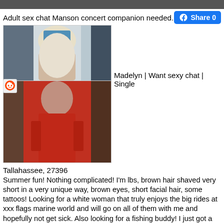[Figure (photo): Top cropped photo strip, dark tones]
Adult sex chat Manson concert companion needed.
[Figure (photo): Two photos stacked: top photo shows person from behind in blue/white outfit; bottom photo shows woman in red dress with dark hair]
Madelyn | Want sexy chat | Single
Tallahassee, 27396
Summer fun! Nothing complicated! I'm lbs, brown hair shaved very short in a very unique way, brown eyes, short facial hair, some tattoos! Looking for a white woman that truly enjoys the big rides at xxx flags marine world and will go on all of them with me and hopefully not get sick. Also looking for a fishing buddy! I just got a year fishing license and want to go as often as our schedules allow me. You don't have to be an avid fisher-woman, but at least like it a bit or be open to it. I'm looking for a woman who is active and in ok shape, arts Rancho Mirage hottie friday afternoon discrete play dates because I like to stay active and I do a lot of walking, lonely women in Lowell Massachusetts md hiking and outdoor activities. You also must like nature and animals! if you don't, please don't respond! I'm also into anything fun, going to the movies, out to dinner, the beach and always open to suggestions! Looking for friendship only, but also open to something more in time! Please include a picture of yourself in your first Email if you're serious about talking further? NO SPAM